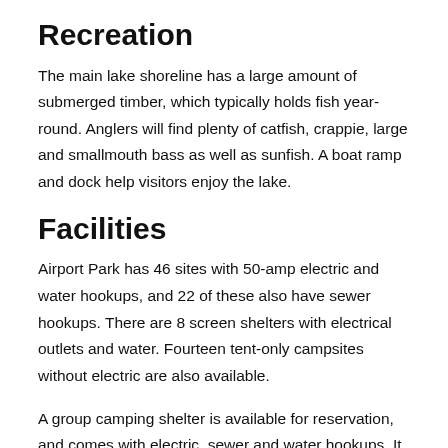Recreation
The main lake shoreline has a large amount of submerged timber, which typically holds fish year-round. Anglers will find plenty of catfish, crappie, large and smallmouth bass as well as sunfish. A boat ramp and dock help visitors enjoy the lake.
Facilities
Airport Park has 46 sites with 50-amp electric and water hookups, and 22 of these also have sewer hookups. There are 8 screen shelters with electrical outlets and water. Fourteen tent-only campsites without electric are also available.
A group camping shelter is available for reservation, and comes with electric, sewer and water hookups. It is